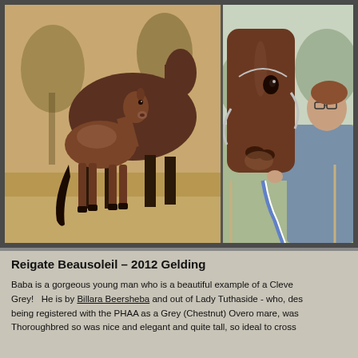[Figure (photo): Two horse photos side by side: left photo shows a young foal (bay/chestnut) standing next to an adult horse on dry ground with trees in background; right photo shows a close-up of a bay horse's head with a woman wearing glasses holding the lead rope.]
Reigate Beausoleil – 2012 Gelding
Baba is a gorgeous young man who is a beautiful example of a Cleve Grey!  He is by Billara Beersheba and out of Lady Tuthaside - who, des being registered with the PHAA as a Grey (Chestnut) Overo mare, was Thoroughbred so was nice and elegant and quite tall, so ideal to cross